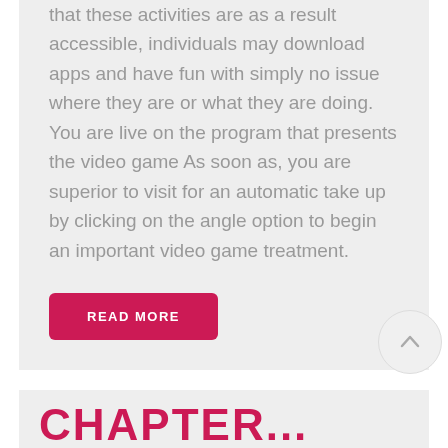that these activities are as a result accessible, individuals may download apps and have fun with simply no issue where they are or what they are doing. You are live on the program that presents the video game As soon as, you are superior to visit for an automatic take up by clicking on the angle option to begin an important video game treatment.
READ MORE
CHAPTER...